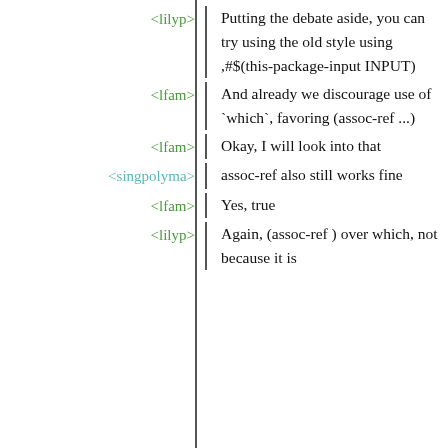<lilyp> Putting the debate aside, you can try using the old style using ,#$(this-package-input INPUT)
<lfam> And already we discourage use of `which`, favoring (assoc-ref ...)
<lfam> Okay, I will look into that
<singpolyma> assoc-ref also still works fine
<lfam> Yes, true
<lilyp> Again, (assoc-ref ) over which, not because it is